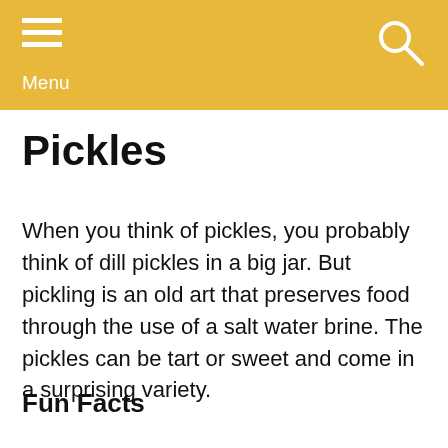Menu
Pickles
When you think of pickles, you probably think of dill pickles in a big jar. But pickling is an old art that preserves food through the use of a salt water brine. The pickles can be tart or sweet and come in a surprising variety.
Fun Facts